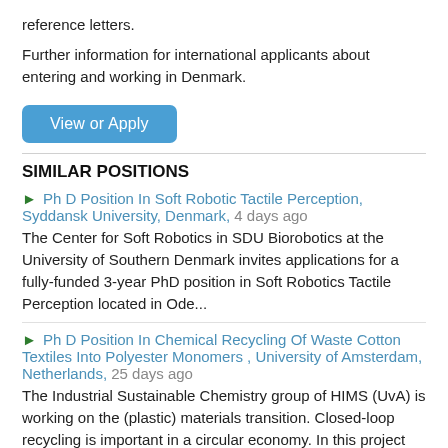reference letters.
Further information for international applicants about entering and working in Denmark.
View or Apply
SIMILAR POSITIONS
Ph D Position In Soft Robotic Tactile Perception, Syddansk University, Denmark, 4 days ago
The Center for Soft Robotics in SDU Biorobotics at the University of Southern Denmark invites applications for a fully-funded 3-year PhD position in Soft Robotics Tactile Perception located in Ode...
Ph D Position In Chemical Recycling Of Waste Cotton Textiles Into Polyester Monomers , University of Amsterdam, Netherlands, 25 days ago
The Industrial Sustainable Chemistry group of HIMS (UvA) is working on the (plastic) materials transition. Closed-loop recycling is important in a circular economy. In this project we will develop...